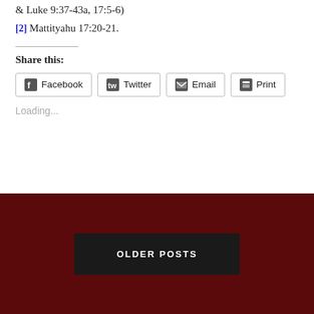& Luke 9:37-43a, 17:5-6)
[2] Mattityahu 17:20-21.
Share this:
Facebook  Twitter  Email  Print
Loading...
OLDER POSTS